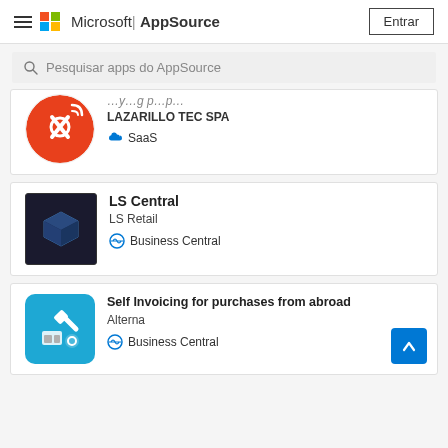Microsoft | AppSource — Entrar
Pesquisar apps do AppSource
[Figure (screenshot): Partially visible app card: red circle icon with crossed tools, LAZARILLO TEC SPA, SaaS]
LAZARILLO TEC SPA
SaaS
[Figure (screenshot): App card: LS Central by LS Retail, Business Central]
LS Central
LS Retail
Business Central
[Figure (screenshot): App card: Self Invoicing for purchases from abroad by Alterna, Business Central]
Self Invoicing for purchases from abroad
Alterna
Business Central